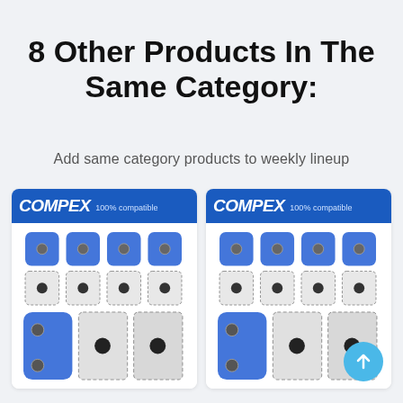8 Other Products In The Same Category:
Add same category products to weekly lineup
[Figure (photo): Two COMPEX 100% compatible electrode pad product cards side by side, each showing a collection of blue and patterned electrode pads of various sizes on a white card with a blue COMPEX header banner.]